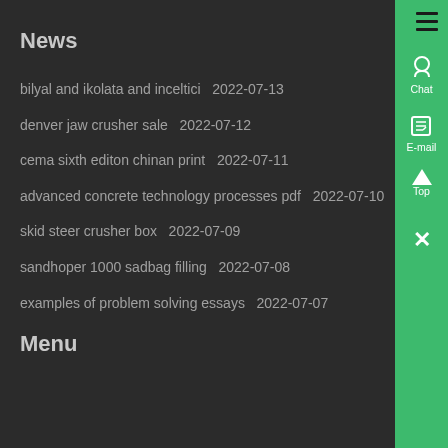News
bilyal and ikolata and inceltici  2022-07-13
denver jaw crusher sale  2022-07-12
cema sixth editon chinan print  2022-07-11
advanced concrete technology processes pdf  2022-07-10
skid steer crusher box  2022-07-09
sandhoper 1000 sadbag filling  2022-07-08
examples of problem solving essays  2022-07-07
Menu